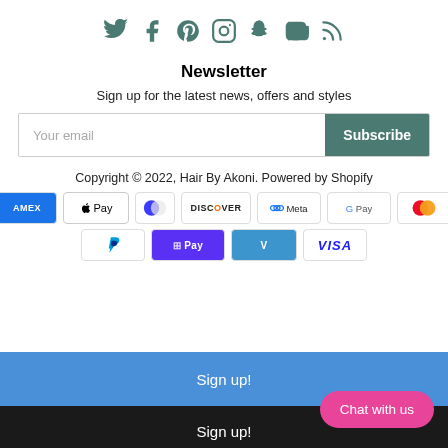[Figure (infographic): Social media icons row: Twitter, Facebook, Pinterest, Instagram, Snapchat, YouTube, RSS — in teal/dark green color]
Newsletter
Sign up for the latest news, offers and styles
[Figure (infographic): Email input field with placeholder 'Your email' and a teal 'Subscribe' button]
Copyright © 2022, Hair By Akoni. Powered by Shopify
[Figure (infographic): Payment method icons: American Express, Apple Pay, Diners Club, Discover, Meta Pay, Google Pay, Mastercard, PayPal, Shop Pay, Venmo, Visa]
Sign up!
Sign up!
Chat with us